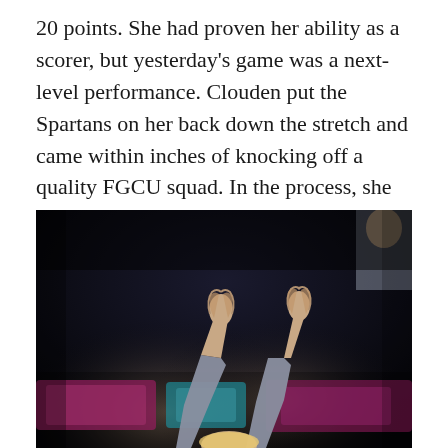20 points. She had proven her ability as a scorer, but yesterday's game was a next-level performance. Clouden put the Spartans on her back down the stretch and came within inches of knocking off a quality FGCU squad. In the process, she accomplished something that's happened only 16 times since the 2009-10 season.
[Figure (photo): A basketball player with arms raised, hands pointing upward, wearing a gray long-sleeve top, photographed from below against a dark arena background with blurred purple and pink LED scoreboard lights visible in the background. Another player visible at top right.]